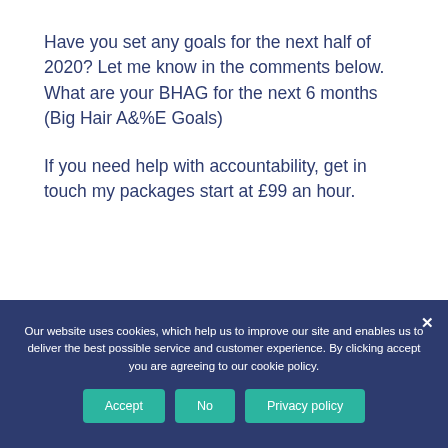Have you set any goals for the next half of 2020? Let me know in the comments below. What are your BHAG for the next 6 months (Big Hair A&%E Goals)
If you need help with accountability, get in touch my packages start at £99 an hour.
Our website uses cookies, which help us to improve our site and enables us to deliver the best possible service and customer experience. By clicking accept you are agreeing to our cookie policy.